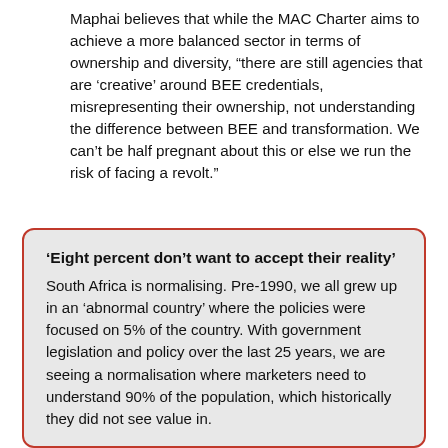Maphai believes that while the MAC Charter aims to achieve a more balanced sector in terms of ownership and diversity, “there are still agencies that are ‘creative’ around BEE credentials, misrepresenting their ownership, not understanding the difference between BEE and transformation. We can’t be half pregnant about this or else we run the risk of facing a revolt.”
‘Eight percent don’t want to accept their reality’ South Africa is normalising. Pre-1990, we all grew up in an ‘abnormal country’ where the policies were focused on 5% of the country. With government legislation and policy over the last 25 years, we are seeing a normalisation where marketers need to understand 90% of the population, which historically they did not see value in. The reality is that any brand still trying to target